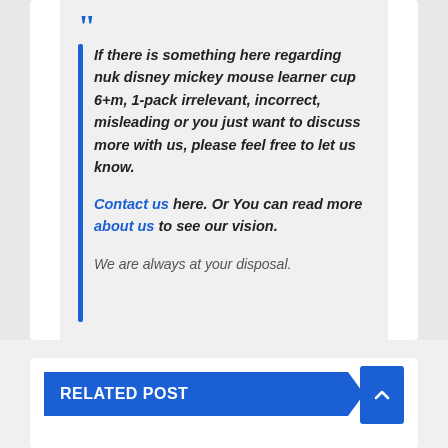If there is something here regarding nuk disney mickey mouse learner cup 6+m, 1-pack irrelevant, incorrect, misleading or you just want to discuss more with us, please feel free to let us know. Contact us here. Or You can read more about us to see our vision.

We are always at your disposal.
RELATED POST